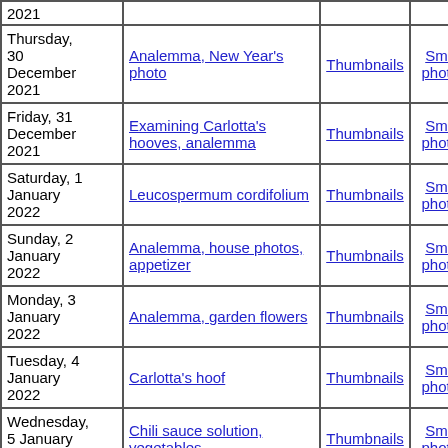| Date | Title | Thumbnails | Small photos | diary |
| --- | --- | --- | --- | --- |
| 2021 |  |  |  |  |
| Thursday, 30 December 2021 | Analemma, New Year's photo | Thumbnails | Small photos | diary |
| Friday, 31 December 2021 | Examining Carlotta's hooves, analemma | Thumbnails | Small photos | diary |
| Saturday, 1 January 2022 | Leucospermum cordifolium | Thumbnails | Small photos | diary |
| Sunday, 2 January 2022 | Analemma, house photos, appetizer | Thumbnails | Small photos | diary |
| Monday, 3 January 2022 | Analemma, garden flowers | Thumbnails | Small photos | diary |
| Tuesday, 4 January 2022 | Carlotta's hoof | Thumbnails | Small photos | diary |
| Wednesday, 5 January 2022 | Chili sauce solution, vegetables | Thumbnails | Small photos | diary |